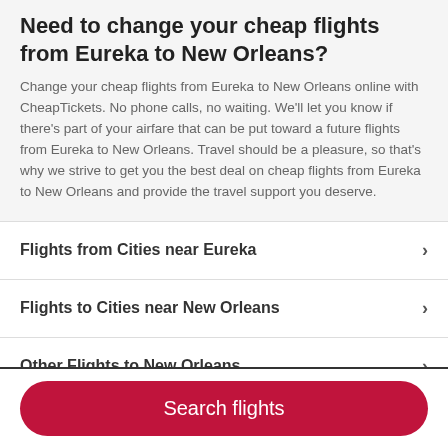Need to change your cheap flights from Eureka to New Orleans?
Change your cheap flights from Eureka to New Orleans online with CheapTickets. No phone calls, no waiting. We'll let you know if there's part of your airfare that can be put toward a future flights from Eureka to New Orleans. Travel should be a pleasure, so that's why we strive to get you the best deal on cheap flights from Eureka to New Orleans and provide the travel support you deserve.
Flights from Cities near Eureka
Flights to Cities near New Orleans
Other Flights to New Orleans
Search flights